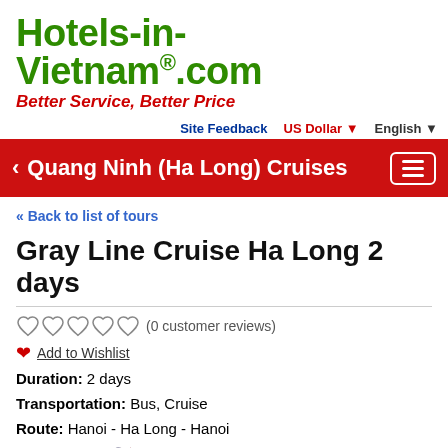[Figure (logo): Hotels-in-Vietnam.com logo in green bold text with red italic tagline 'Better Service, Better Price']
Site Feedback   US Dollar ▼   English ▼
‹ Quang Ninh (Ha Long) Cruises
« Back to list of tours
Gray Line Cruise Ha Long 2 days
♡♡♡♡♡ (0 customer reviews)
♥ Add to Wishlist
Duration: 2 days
Transportation: Bus, Cruise
Route: Hanoi - Ha Long - Hanoi
Languages: 🇺🇸 English
from US$ 134